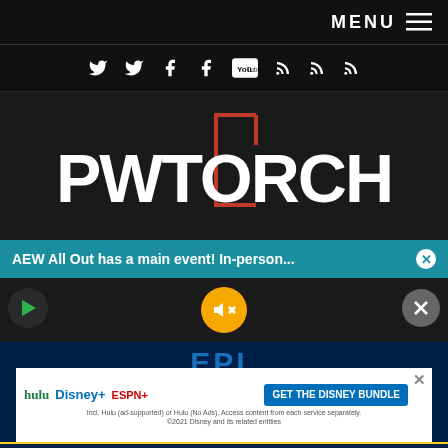MENU ☰
[Figure (screenshot): Social media icons bar: Twitter, Twitter, Facebook, Facebook, YouTube, RSS, RSS, RSS icons in white on dark background]
PWTORCH
AEW All Out has a main event! In-person...
[Figure (screenshot): Mute button (yellow circle with mute icon), flanked by a green leaf overlay icon on left and a grey X button on right]
[Figure (screenshot): Disney Bundle advertisement: hulu, Disney+, ESPN+ logos with GET THE DISNEY BUNDLE CTA button. Fine print: Incl. Hulu (ad-supported) or Hulu (No Ads). Access content from each service separately. ©2021 Disney and its related entities]
LIVE SPORTS